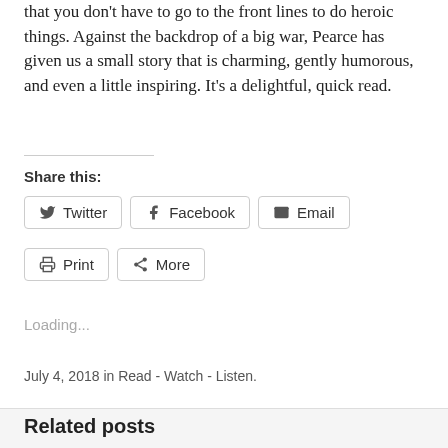that you don't have to go to the front lines to do heroic things. Against the backdrop of a big war, Pearce has given us a small story that is charming, gently humorous, and even a little inspiring. It's a delightful, quick read.
Share this:
Twitter  Facebook  Email  Print  More
Loading...
July 4, 2018 in Read - Watch - Listen.
Related posts
Sonia's Weekend Read: The Extraordinary Deaths of Mrs. Kin